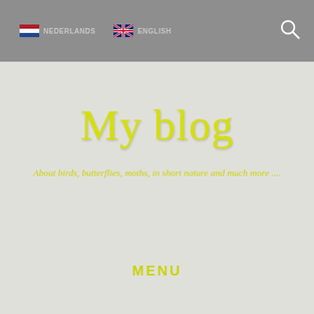NEDERLANDS   ENGLISH
My blog
About birds, butterflies, moths, in short nature and much more ....
MENU